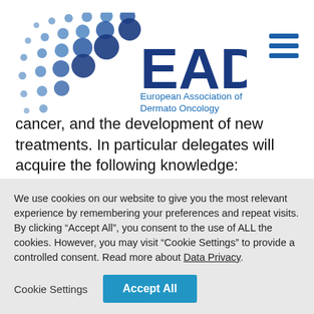[Figure (logo): EADO - European Association of Dermato Oncology logo with dot-grid pattern and blue text]
cancer, and the development of new treatments. In particular delegates will acquire the following knowledge:
Strategies for diagnosis of melanoma, Merkel cell and non-melanoma skin cancer including dermoscopy and
We use cookies on our website to give you the most relevant experience by remembering your preferences and repeat visits. By clicking “Accept All”, you consent to the use of ALL the cookies. However, you may visit "Cookie Settings" to provide a controlled consent. Read more about Data Privacy.